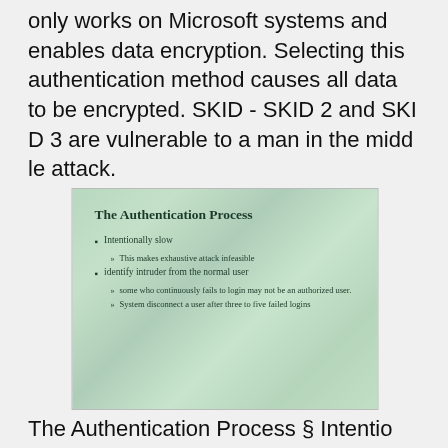only works on Microsoft systems and enables data encryption. Selecting this authentication method causes all data to be encrypted. SKID - SKID 2 and SKID 3 are vulnerable to a man in the middle attack.
[Figure (screenshot): Slide image titled 'The Authentication Process' with bullet points: Intentionally slow (sub-bullet: This makes exhaustive attack infeasible), identify intruder from the normal user (sub-bullets: some who continuously fails to login may not be an authorized user. System disconnect a user after three to five failed logins)]
The Authentication Process § Intentionally slow l This makes exhaustive attack infeasible § identify intruder from the normal user l l some who continuously fails to login may not be an authorize